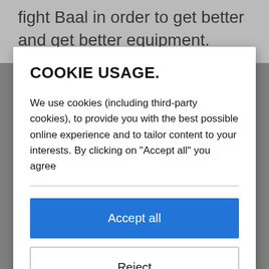fight Baal in order to get better and get better equipment. Reliving the old days through a remake
COOKIE USAGE.
We use cookies (including third-party cookies), to provide you with the best possible online experience and to tailor content to your interests. By clicking on "Accept all" you agree
Accept all
Reject
Customize